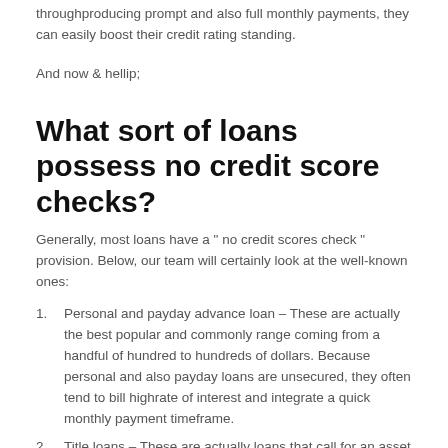throughproducing prompt and also full monthly payments, they can easily boost their credit rating standing.
And now & hellip;
What sort of loans possess no credit score checks?
Generally, most loans have a “ no credit scores check ” provision. Below, our team will certainly look at the well-known ones:
Personal and payday advance loan – These are actually the best popular and commonly range coming from a handful of hundred to hundreds of dollars. Because personal and also payday loans are unsecured, they often tend to bill highrate of interest and integrate a quick monthly payment timeframe.
Title loans – These are actually loans that call for an asset